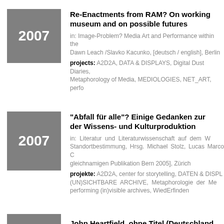Re-Enactments from RAM? On working museum and on possible futures
in: Image-Problem? Media Art and Performance within the museum, Dawn Leach /Slavko Kacunko, [deutsch / english], Berlin
projects: A2D2A, DATA & DISPLAYS, Digital Dust Diaries, Metaphorology of Media, MEDIOLOGIES, NET_ART, performing (in)visible archives
"Abfall für alle"? Einige Gedanken zur der Wissens- und Kulturproduktion
in: Literatur und Literaturwissenschaft auf dem Weg zur Standortbestimmung, Hrsg. Michael Stolz, Lucas Marco C. gleichnamigen Publikation Bern 2005], Zürich
projekte: A2D2A, center for storytelling, DATEN & DISPLAYS, (UN)SICHTBARE ARCHIVE, Metaphorologie der Medien, performing (in)visible archives, WiedErfinden
John Heartfield. ohne Titel (Deutschland)